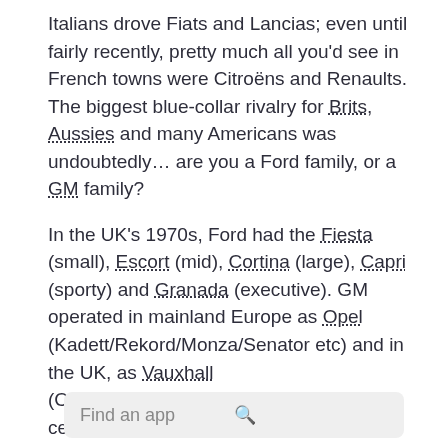Italians drove Fiats and Lancias; even until fairly recently, pretty much all you'd see in French towns were Citroëns and Renaults. The biggest blue-collar rivalry for Brits, Aussies and many Americans was undoubtedly… are you a Ford family, or a GM family?
In the UK's 1970s, Ford had the Fiesta (small), Escort (mid), Cortina (large), Capri (sporty) and Granada (executive). GM operated in mainland Europe as Opel (Kadett/Rekord/Monza/Senator etc) and in the UK, as Vauxhall (Chevette/Cavalier/Carlton etc). Brits of a certain age may fondly? remember the Escort-sized, everyman family car: the Vauxhall Viva. The announcement of the employee wellbeing platform, Microsoft Viva thus brought a misty-eyed moment of reflection for some…
Find an app